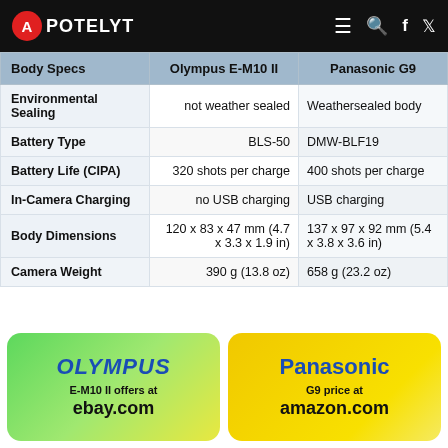APOTELYT
| Body Specs | Olympus E-M10 II | Panasonic G9 |
| --- | --- | --- |
| Environmental Sealing | not weather sealed | Weathersealed body |
| Battery Type | BLS-50 | DMW-BLF19 |
| Battery Life (CIPA) | 320 shots per charge | 400 shots per charge |
| In-Camera Charging | no USB charging | USB charging |
| Body Dimensions | 120 x 83 x 47 mm (4.7 x 3.3 x 1.9 in) | 137 x 97 x 92 mm (5.4 x 3.8 x 3.6 in) |
| Camera Weight | 390 g (13.8 oz) | 658 g (23.2 oz) |
[Figure (infographic): Olympus E-M10 II offers at ebay.com — green/yellow gradient box with Olympus logo]
[Figure (infographic): Panasonic G9 price at amazon.com — yellow gradient box with Panasonic logo]